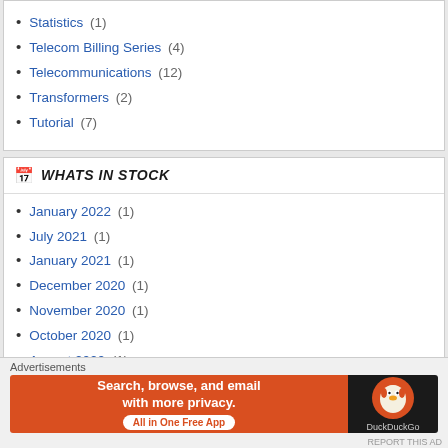Statistics (1)
Telecom Billing Series (4)
Telecommunications (12)
Transformers (2)
Tutorial (7)
WHATS IN STOCK
January 2022 (1)
July 2021 (1)
January 2021 (1)
December 2020 (1)
November 2020 (1)
October 2020 (1)
August 2020 (1)
July 2020 (1)
June 2020 (1)
Advertisements
[Figure (screenshot): DuckDuckGo advertisement banner: 'Search, browse, and email with more privacy. All in One Free App']